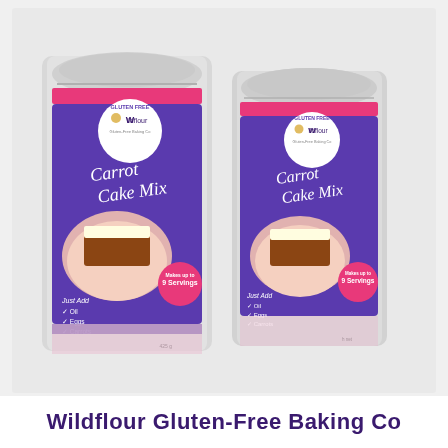[Figure (photo): Two silver/metallic stand-up pouches of Wildflour Gluten-Free Baking Co Carrot Cake Mix, shown side by side. Each bag has a purple label with a pink stripe at top, the Wildflour logo with a 'GLUTEN FREE' badge, script text reading 'Carrot Cake Mix', an image of a slice of carrot cake on a plate, a pink circular badge reading 'Makes up to 9 Servings', and text listing 'Just Add Oil, Eggs, Carrots'. The left bag is slightly larger/closer, the right bag is behind and to the right.]
Wildflour Gluten-Free Baking Co